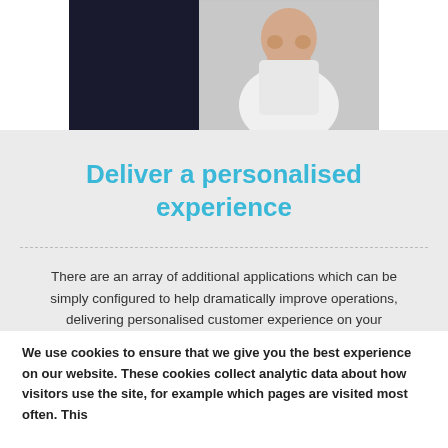[Figure (photo): A person in a white polka-dot top, photographed against a dark/light background, shown from the upper body.]
Deliver a personalised experience
There are an array of additional applications which can be simply configured to help dramatically improve operations, delivering personalised customer experience on your
We use cookies to ensure that we give you the best experience on our website. These cookies collect analytic data about how visitors use the site, for example which pages are visited most often. This